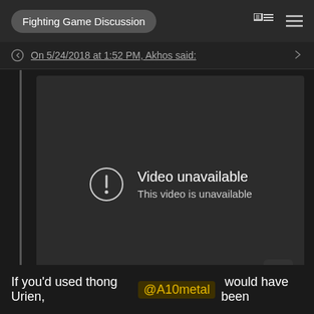Fighting Game Discussion
On 5/24/2018 at 1:52 PM, Akhos said:
[Figure (screenshot): Embedded YouTube video player showing 'Video unavailable — This video is unavailable' error message on a dark background, with a YouTube play button icon in the bottom-right corner.]
If you'd used thong Urien, @A10metal would have been